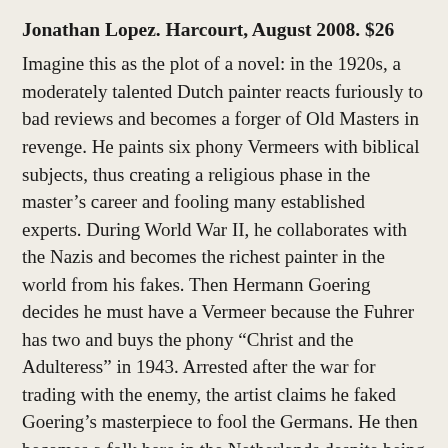Jonathan Lopez. Harcourt, August 2008. $26
Imagine this as the plot of a novel: in the 1920s, a moderately talented Dutch painter reacts furiously to bad reviews and becomes a forger of Old Masters in revenge. He paints six phony Vermeers with biblical subjects, thus creating a religious phase in the master’s career and fooling many established experts. During World War II, he collaborates with the Nazis and becomes the richest painter in the world from his fakes. Then Hermann Goering decides he must have a Vermeer because the Fuhrer has two and buys the phony “Christ and the Adulteress” in 1943. Arrested after the war for trading with the enemy, the artist claims he faked Goering’s masterpiece to fool the Germans. He then becomes a folk hero in the Netherlands despite being sentenced to a year in jail for forgery. But that’s not fiction; it actually happened, and one of the fakes, “The Supper at Emmaus,” still hangs in the Boijmans Museum in Rotterdam. Lopez